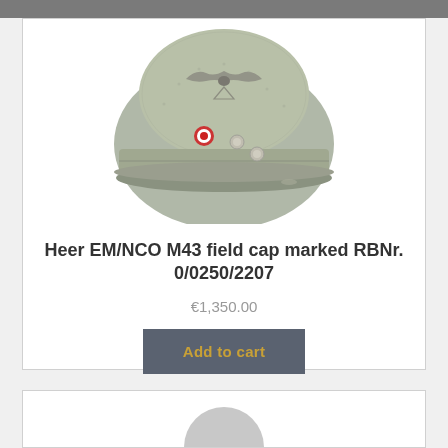[Figure (photo): A grey wool Heer EM/NCO M43 field cap (Einheitsfeldmütze) viewed from the front, showing eagle insignia at top, national cockade badge, two side buttons, and a short brim.]
Heer EM/NCO M43 field cap marked RBNr. 0/0250/2207
€1,350.00
Add to cart